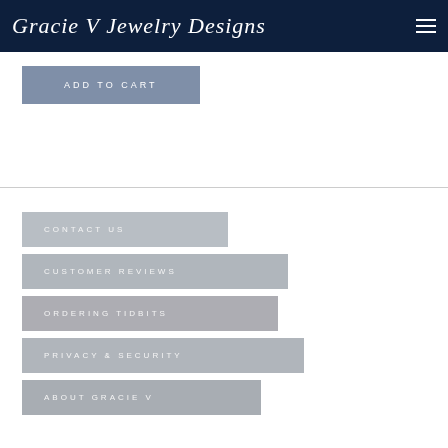Gracie V Jewelry Designs
ADD TO CART
CONTACT US
CUSTOMER REVIEWS
ORDERING TIDBITS
PRIVACY & SECURITY
ABOUT GRACIE V